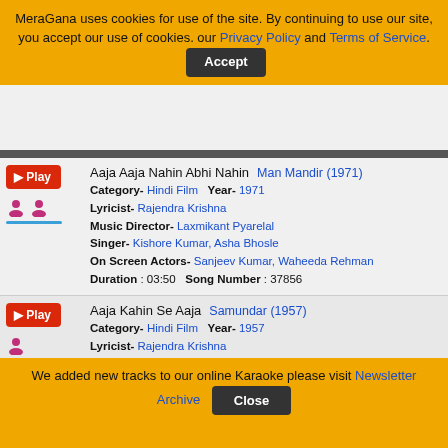MeraGana uses cookies for use of the site. By continuing to use our site, you accept our use of cookies. our Privacy Policy and Terms of Service. [Accept]
| Song | Movie | Details |
| --- | --- | --- |
| Aaja Aaja Nahin Abhi Nahin | Man Mandir (1971) | Category- Hindi Film  Year- 1971 | Lyricist- Rajendra Krishna | Music Director- Laxmikant Pyarelal | Singer- Kishore Kumar, Asha Bhosle | On Screen Actors- Sanjeev Kumar, Waheeda Rehman | Duration : 03:50  Song Number : 37856 |
| Aaja Kahin Se Aaja | Samundar (1957) | Category- Hindi Film  Year- 1957 | Lyricist- Rajendra Krishna | Music Director- Madan Mohan | Singer- Lata Mangeshkar | On Screen Actors- Beena Roy  Raag- Ramkali | Duration : 06:35  Song Number : 15661 |
| Aaja Raja Leke Baraat | Anmol Moti (1969) |  |
We added new tracks to our online Karaoke please visit Newsletter Archive [Close]